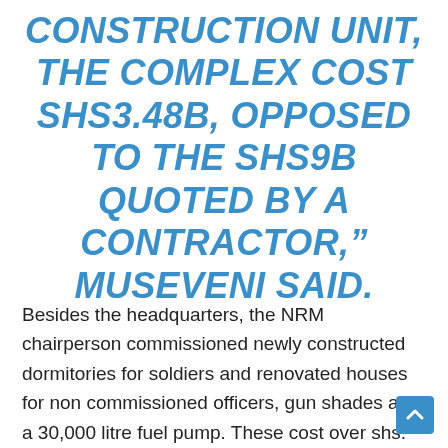CONSTRUCTION UNIT, THE COMPLEX COST SHS3.48B, OPPOSED TO THE SHS9B QUOTED BY A CONTRACTOR," MUSEVENI SAID.
Besides the headquarters, the NRM chairperson commissioned newly constructed dormitories for soldiers and renovated houses for non commissioned officers, gun shades and a 30,000 litre fuel pump. These cost over shs. 1.1 billions.